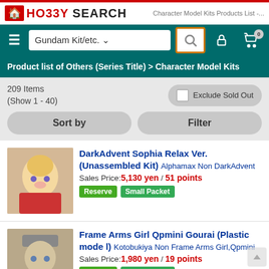HO33Y SEARCH — Character Model Kits Products List
Product list of Others (Series Title) > Character Model Kits
209 Items (Show 1 - 40)
DarkAdvent Sophia Relax Ver. (Unassembled Kit) Alphamax Non DarkAdvent
Sales Price: 5,130 yen / 51 points
[Reserve] [Small Packet]
Frame Arms Girl Qpmini Gourai (Plastic model) Kotobukiya Non Frame Arms Girl,Qpmini
Sales Price: 1,980 yen / 19 points
[Reserve] [Small Packet]
Toko-Toko Minions Otto (Plastic model) Aoshima Non ACKS